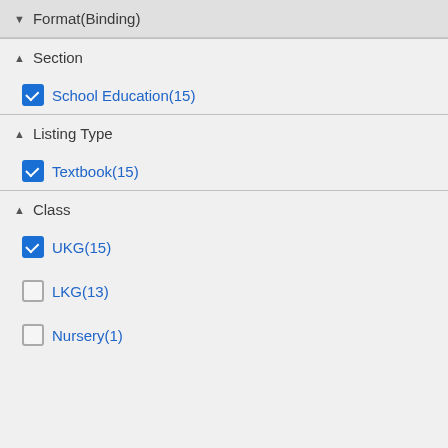▼ Format(Binding)
▲ Section
☑ School Education(15)
▲ Listing Type
☑ Textbook(15)
▲ Class
☑ UKG(15)
☐ LKG(13)
☐ Nursery(1)